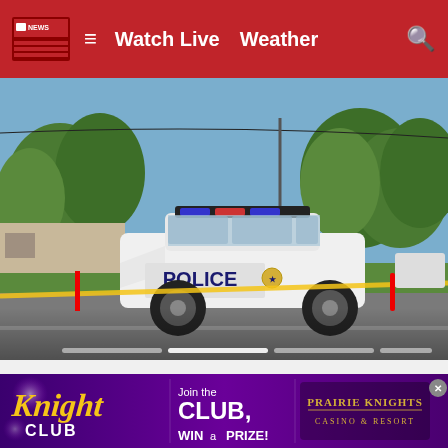Watch Live  Weather
[Figure (photo): Police car with 'POLICE' markings parked at a crime scene with yellow caution tape across a residential street. Trees and houses visible in the background.]
Tittle of latest shooting or police crime news article text spanning two lines
[Figure (infographic): Advertisement banner for Prairie Knights Casino & Resort's Knight Club promotion: 'Join the CLUB, WIN a PRIZE!']